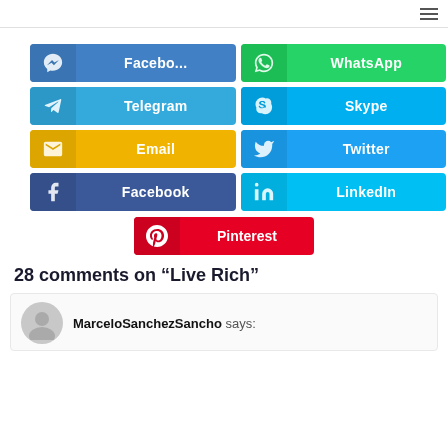[Figure (infographic): Social share buttons grid: Facebook Messenger, WhatsApp, Telegram, Skype, Email, Twitter, Facebook, LinkedIn, Pinterest]
28 comments on “Live Rich”
MarceloSanchezSancho says: